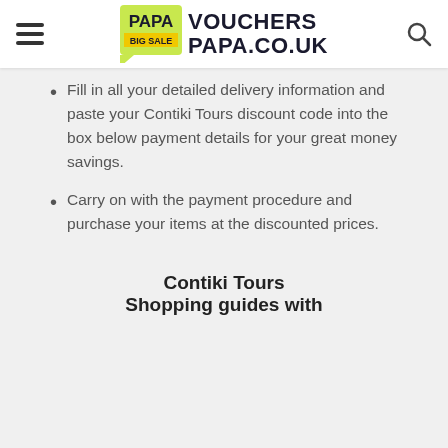PAPA VOUCHERS PAPA.CO.UK
Fill in all your detailed delivery information and paste your Contiki Tours discount code into the box below payment details for your great money savings.
Carry on with the payment procedure and purchase your items at the discounted prices.
Contiki Tours Shopping guides with